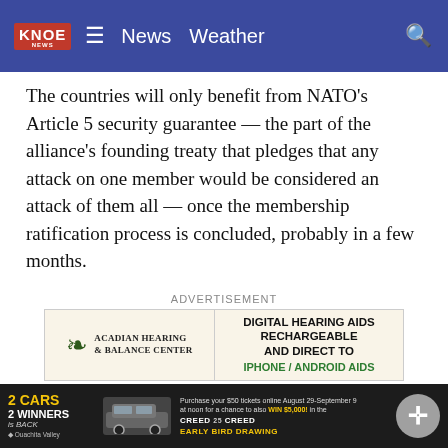KNOE News Weather
The countries will only benefit from NATO's Article 5 security guarantee — the part of the alliance's founding treaty that pledges that any attack on one member would be considered an attack of them all — once the membership ratification process is concluded, probably in a few months.
ADVERTISEMENT
[Figure (other): Advertisement for Acadian Hearing & Balance Center — Digital Hearing Aids Rechargeable and Direct to iPhone / Android Aids]
A senior U.S. defense official said the Pentagon is having ongoing discussions with Sweden and Finland on their security needs during the period before full NATO membership takes effect.
[Figure (other): Overlay advertisement: 2 Cars 2 Winners is Back — Ouachita Valley — Purchase your $50 tickets online August 29-September 9 at noon for a chance to also WIN $5,000! in the EARLY BIRD DRAWING — Creed 25 Creed logo]